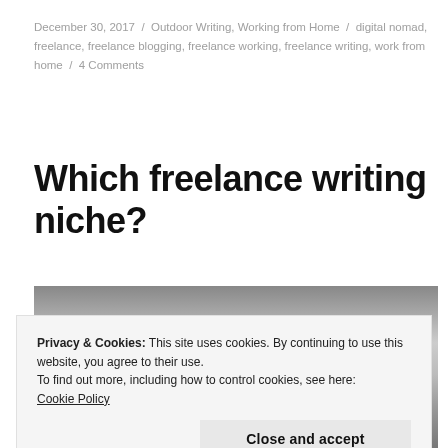December 30, 2017 / Outdoor Writing, Working from Home / digital nomad, freelance, freelance blogging, freelance working, freelance writing, work from home / 4 Comments
Which freelance writing niche?
[Figure (photo): Grayscale photo of an outdoor landscape with cloudy sky and water/seascape]
Privacy & Cookies: This site uses cookies. By continuing to use this website, you agree to their use.
To find out more, including how to control cookies, see here: Cookie Policy
Close and accept